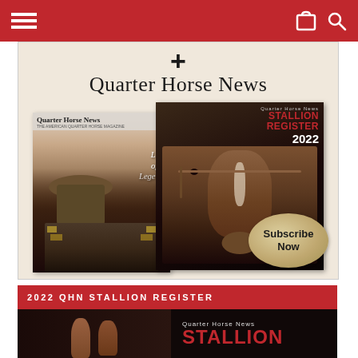[Figure (screenshot): Website navigation bar with red background, hamburger menu icon on left, shopping cart and search icons on right]
[Figure (illustration): Quarter Horse News subscription advertisement showing magazine cover with cowboy, Stallion Register 2022 cover with horse head, plus sign, 'Quarter Horse News' title, and 'Subscribe Now' oval button on tan/cream textured background]
2022 QHN STALLION REGISTER
[Figure (photo): Bottom preview of 2022 QHN Stallion Register cover showing horse hooves and 'STALLION' text in red on dark background with 'Quarter Horse News' text above]